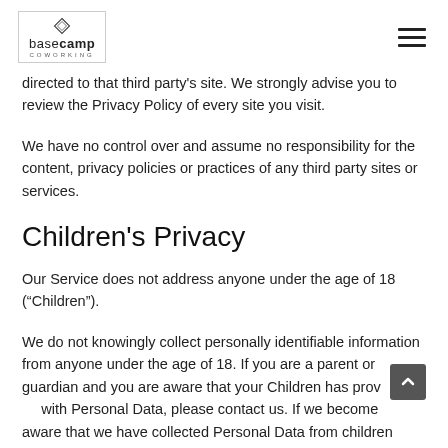basecamp COWORKING
directed to that third party's site. We strongly advise you to review the Privacy Policy of every site you visit.
We have no control over and assume no responsibility for the content, privacy policies or practices of any third party sites or services.
Children's Privacy
Our Service does not address anyone under the age of 18 (“Children”).
We do not knowingly collect personally identifiable information from anyone under the age of 18. If you are a parent or guardian and you are aware that your Children has provided us with Personal Data, please contact us. If we become aware that we have collected Personal Data from children without